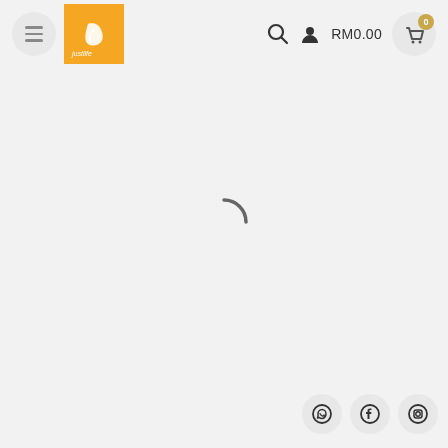[Figure (screenshot): Justlife e-commerce website header with hamburger menu, orange Justlife logo, search icon, user icon, RM0.00 cart total, and cart icon with badge showing 0. Page shows a loading spinner in the center and social media icons (WhatsApp, Facebook, Instagram) in the bottom right corner.]